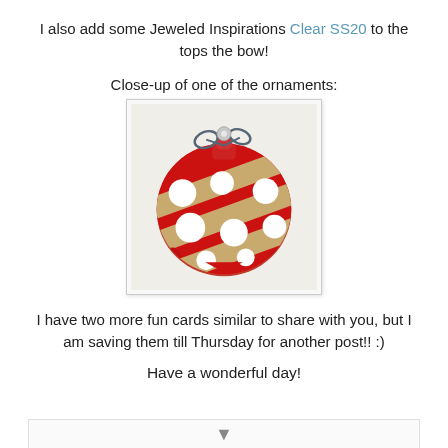I also add some Jeweled Inspirations Clear SS20 to the tops the bow!
Close-up of one of the ornaments:
[Figure (photo): Close-up photo of a handmade Christmas ornament craft made with red glitter and tan/kraft diagonal stripes, white polka dot circles, with a gray ribbon bow and small silver brad at the top, on a white background.]
I have two more fun cards similar to share with you, but I am saving them till Thursday for another post!! :)
Have a wonderful day!